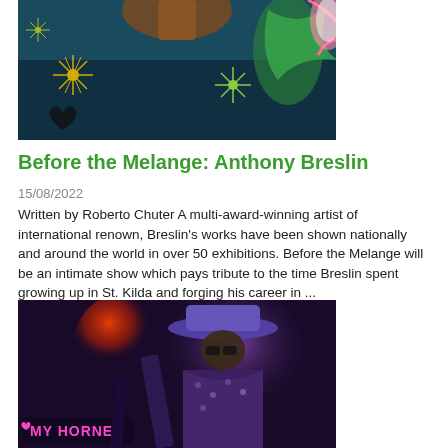[Figure (photo): Colorful artwork with decorative elements on a dark teal/blue background, featuring starburst patterns and floral designs]
Before the Melange: Anthony Breslin
15/08/2022
Written by Roberto Chuter A multi-award-winning artist of international renown, Breslin's works have been shown nationally and around the world in over 50 exhibitions. Before the Melange will be an intimate show which pays tribute to the time Breslin spent growing up in St. Kilda and forging his career in ...
[Figure (photo): A performer on stage wearing a wide-brimmed hat and patterned jacket playing guitar under purple/red stage lighting, with a neon sign reading 'MY HORNET' visible in the lower left]